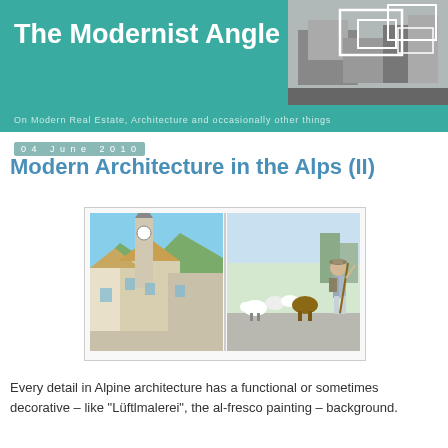The Modernist Angle
On Modern Real Estate, Architecture and occasionally other things
04 June 2010
Modern Architecture in the Alps (II)
[Figure (photo): Two side-by-side alpine photographs: left shows traditional Alpine buildings with a church tower; right shows a shepherd walking with a herd of sheep and cattle in a village street.]
Every detail in Alpine architecture has a functional or sometimes decorative – like "Lüftlmalerei", the al-fresco painting – background.